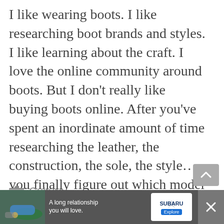I like wearing boots. I like researching boot brands and styles. I like learning about the craft. I love the online community around boots. But I don't really like buying boots online. After you've spent an inordinate amount of time researching the leather, the construction, the sole, the style... you finally figure out which model ... Read more
Culture
Boot tech, fit, grant stone, Grayle Technology, sizing
Leave a comment
[Figure (infographic): Advertisement banner at bottom: Subaru ad with text 'A long relationship you will love.' showing a blue Subaru car and a person with a dog outdoors. Subaru logo and Explore button on right. Close button on far right.]